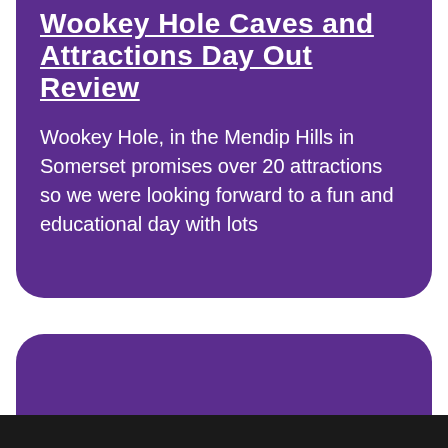Wookey Hole Caves and Attractions Day Out Review
Wookey Hole, in the Mendip Hills in Somerset promises over 20 attractions so we were looking forward to a fun and educational day with lots